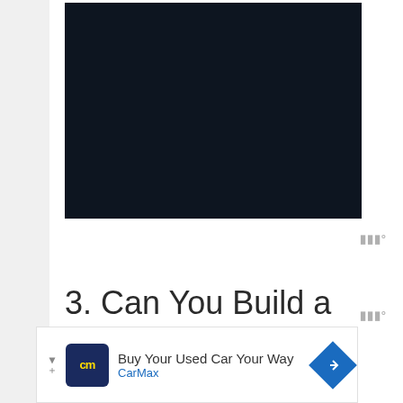[Figure (photo): Dark near-black rectangular image placeholder]
3. Can You Build a
[Figure (screenshot): Advertisement banner: CarMax - Buy Your Used Car Your Way]